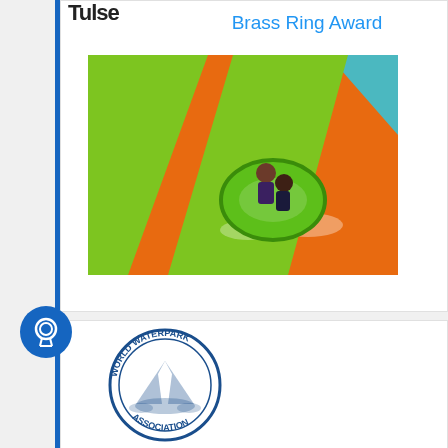Brass Ring Award
[Figure (photo): Aerial view of two people riding a green inflatable tube down a colorful water slide with orange and green stripes]
[Figure (logo): World Waterpark Association circular logo with blue text and wave/waterfall imagery]